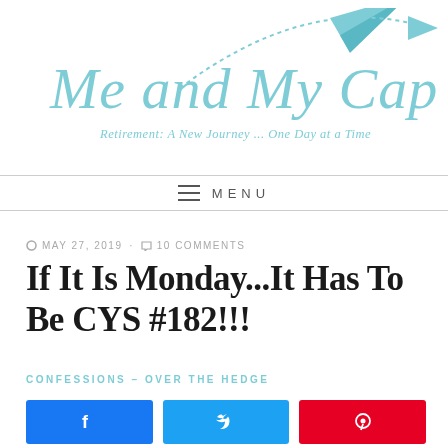[Figure (logo): Me and My Captain blog logo with cursive teal text and paper airplane graphic. Tagline: Retirement: A New Journey ... One Day at a Time]
MENU
MAY 27, 2019 · 10 COMMENTS
If It Is Monday...It Has To Be CYS #182!!!
CONFESSIONS – OVER THE HEDGE
[Figure (other): Three social share buttons: Facebook (blue), Twitter (light blue), Pinterest (red)]